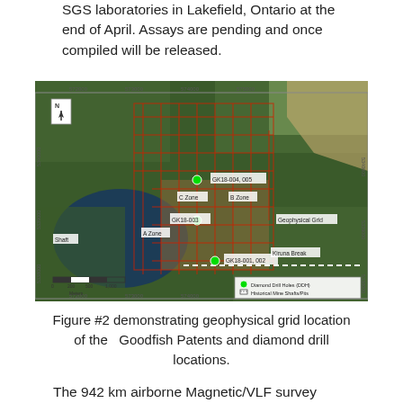SGS laboratories in Lakefield, Ontario at the end of April. Assays are pending and once compiled will be released.
[Figure (map): Satellite aerial map showing geophysical grid location of the Goodfish Patents with red grid overlay, diamond drill hole locations (GK18-001, GK18-001.002, GK18-003, GK18-004, GK18-005), labeled zones (A Zone, B Zone, C Zone), Shaft, Geophysical Grid, Kiruna Break labels, white dashed line, north arrow, scale bar, and legend showing Diamond Drill Holes (DDH) and Historical Mine Shafts/Pits.]
Figure #2 demonstrating geophysical grid location of the   Goodfish Patents and diamond drill locations.
The 942 km airborne Magnetic/VLF survey